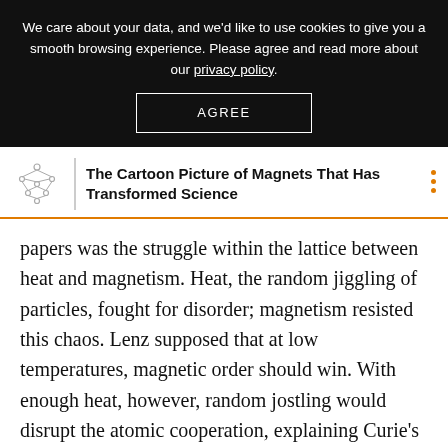We care about your data, and we'd like to use cookies to give you a smooth browsing experience. Please agree and read more about our privacy policy.
AGREE
[Figure (logo): Quanta Magazine atom/molecule logo icon — small dots connected by lines forming a molecular-like lattice structure]
The Cartoon Picture of Magnets That Has Transformed Science
papers was the struggle within the lattice between heat and magnetism. Heat, the random jiggling of particles, fought for disorder; magnetism resisted this chaos. Lenz supposed that at low temperatures, magnetic order should win. With enough heat, however, random jostling would disrupt the atomic cooperation, explaining Curie's observation that hot magnets lose their mojo.